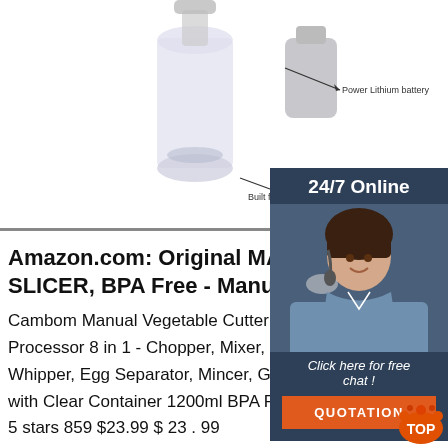[Figure (photo): Product image showing a manual vegetable cutter/food processor with labels 'Built filter' and 'Power Lithium battery' with arrows, reflected below a horizontal line. Partially cut off on the right by a chat widget overlay.]
Amazon.com: Original MASTE SLICER, BPA Free - Manuel F
Cambom Manual Vegetable Cutter Fo Processor 8 in 1 - Chopper, Mixer, Blender, Whipper, Egg Separator, Mincer, Grinder, Dicer with Clear Container 1200ml BPA Free 4.4 out of 5 stars 859 $23.99 $ 23 . 99
[Figure (other): Chat widget overlay: dark navy background with '24/7 Online', a photo of a smiling woman with a headset, text 'Click here for free chat !', and an orange QUOTATION button.]
[Figure (logo): Red and orange 'TOP' logo with dots, bottom right corner.]